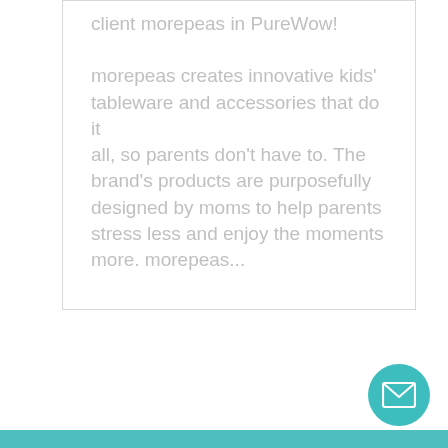client morepeas in PureWow! morepeas creates innovative kids' tableware and accessories that do it all, so parents don't have to. The brand's products are purposefully designed by moms to help parents stress less and enjoy the moments more. morepeas...
[Figure (other): Teal circular email/contact button with envelope icon in bottom-right corner]